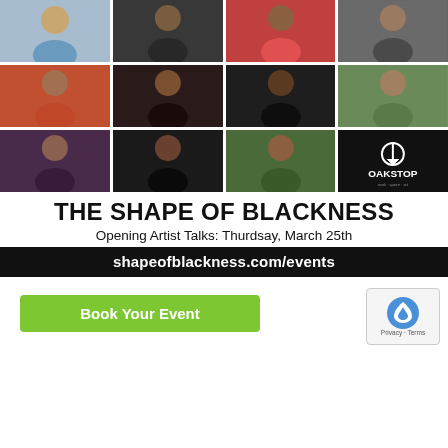[Figure (photo): 3x4 grid of portrait photos of artists/speakers for The Shape of Blackness event, plus Oakstop logo in bottom-right cell]
THE SHAPE OF BLACKNESS
Opening Artist Talks: Thurdsay, March 25th
shapeofblackness.com/events
Book Your Event